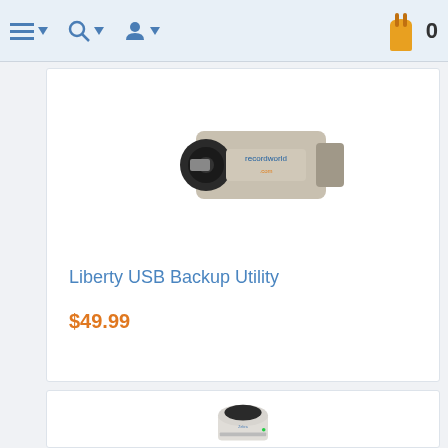Navigation bar with menu, search, user icons and shopping cart (0 items)
[Figure (photo): USB flash drive with RecordWorld branding on a silver/black swivel design]
Liberty USB Backup Utility
$49.99
[Figure (photo): White desktop label/thermal printer with dark top panel and green indicator light, Zebra brand]